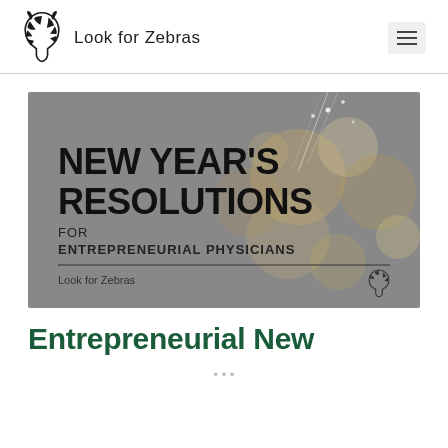Look for Zebras
[Figure (photo): Hero image with bokeh sparkler background. Text overlay reads: NEW YEAR'S RESOLUTIONS FOR ENTREPRENEURIAL PHYSICIANS. Bottom shows 'Look for Zebras' logo text and small zebra icon.]
Entrepreneurial New